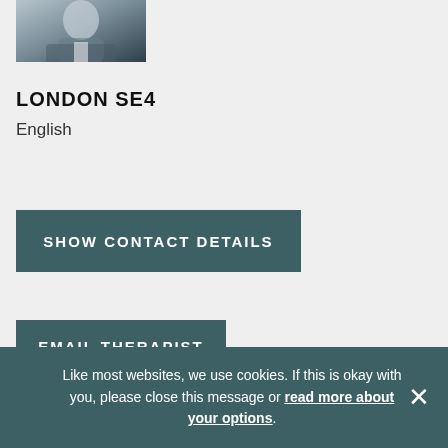[Figure (photo): Partial profile photo of a person in the top-left corner, cropped to show upper portion of head and shoulders]
LONDON SE4
English
SHOW CONTACT DETAILS
EMAIL THERAPIST
Like most websites, we use cookies. If this is okay with you, please close this message or read more about your options.